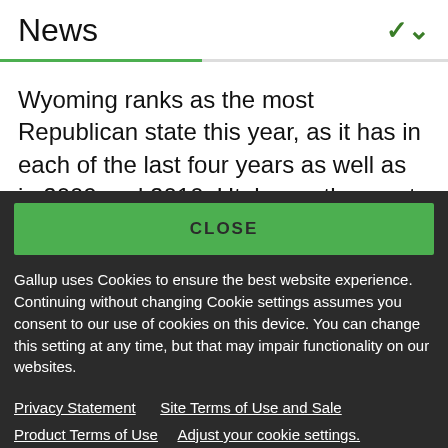News
Wyoming ranks as the most Republican state this year, as it has in each of the last four years as well as in 2009 and 2010. Utah was the most
CLOSE
Gallup uses Cookies to ensure the best website experience. Continuing without changing Cookie settings assumes you consent to our use of cookies on this device. You can change this setting at any time, but that may impair functionality on our websites.
Privacy Statement   Site Terms of Use and Sale
Product Terms of Use   Adjust your cookie settings.